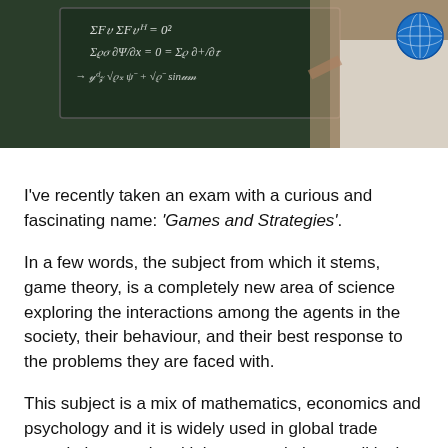[Figure (photo): Photo of a person pointing at a blackboard with mathematical equations and formulas written on it. A blue globe icon badge is visible in the upper right corner.]
I've recently taken an exam with a curious and fascinating name: 'Games and Strategies'.
In a few words, the subject from which it stems, game theory, is a completely new area of science exploring the interactions among the agents in the society, their behaviour, and their best response to the problems they are faced with.
This subject is a mix of mathematics, economics and psychology and it is widely used in global trade negotiations, national labour negotiations, political elections and even in evolutionary biology.
Game theory was first developed by the mathematician